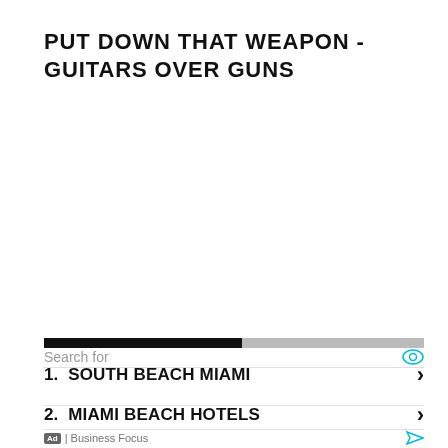PUT DOWN THAT WEAPON - GUITARS OVER GUNS
[Figure (other): Ad search widget with progress bar showing black and gray segments, an eye icon, and 'Search for' label]
1. SOUTH BEACH MIAMI
2. MIAMI BEACH HOTELS
Ad | Business Focus